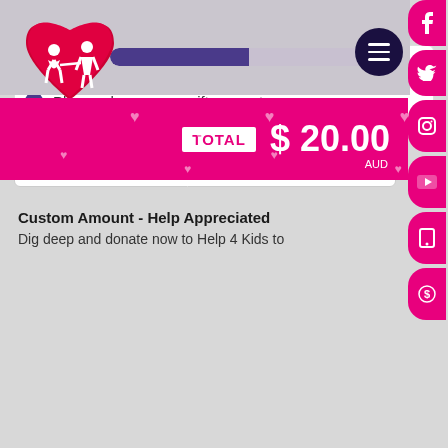[Figure (logo): Help 4 Kids logo with red heart shape and two children silhouettes, with progress bar below]
TOTAL $ 20.00 AUD
Donation Amount
$25   $50   $100   $500
Please choose your gift amount
20.00
Custom Amount - Help Appreciated
Dig deep and donate now to Help 4 Kids to